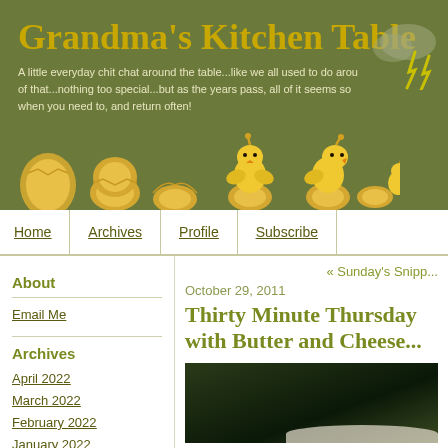Grandma's Kitchen Table
A little everyday chit chat around the table...like we all used to do around all of that...nothing too special...but as the years pass, all of it seems so... when you need to, and return often!
[Figure (illustration): Row of cartoon chick/hatching egg illustrations on olive green background, showing sequence from egg to hatched chicks]
Home | Archives | Profile | Subscribe
About
Email Me
Archives
April 2022
March 2022
February 2022
January 2022
« Sunday's Snipp...
October 29, 2011
Thirty Minute Thursday with Butter and Cheese...
[Figure (photo): Dark food photograph, partially visible, showing what appears to be a dish with a white/cream colored rim or edge]